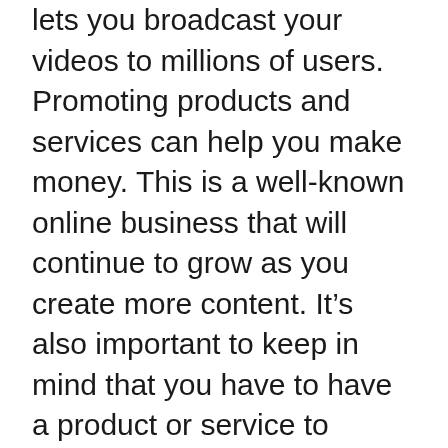lets you broadcast your videos to millions of users. Promoting products and services can help you make money. This is a well-known online business that will continue to grow as you create more content. It’s also important to keep in mind that you have to have a product or service to market.
To earn money from TikTok, you must create an account. You must also have at minimum 1,000 followers. You’ll need to do this in order to become eligible for the TikTok Creator Fund. You must be at least 18 years of age, a legal resident of the U.S. and have accumulated at most 100,000 video views within the last 30 calendar days to be a TikTok Creator. Sponsorships are also available. However, you should consider your